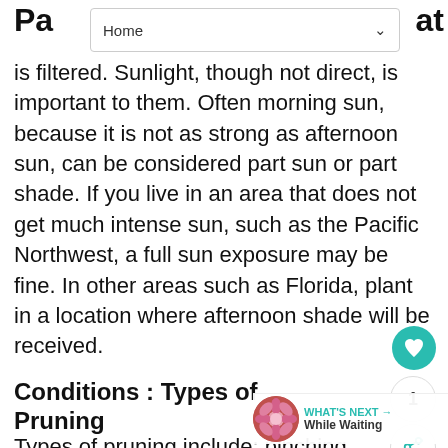Home
is filtered. Sunlight, though not direct, is important to them. Often morning sun, because it is not as strong as afternoon sun, can be considered part sun or part shade. If you live in an area that does not get much intense sun, such as the Pacific Northwest, a full sun exposure may be fine. In other areas such as Florida, plant in a location where afternoon shade will be received.
Conditions : Types of Pruning
Types of pruning include: pinching, thinning, shearing and rejuvenating.
Pinching is removing the stem tips of a young